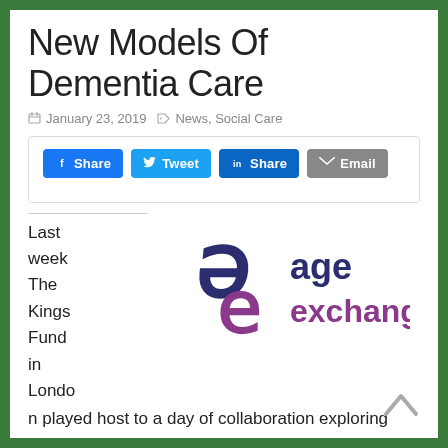New Models Of Dementia Care
January 23, 2019   News, Social Care
[Figure (other): Social share buttons: Facebook Share, Tweet, LinkedIn Share, Email]
[Figure (logo): Age Exchange logo — stylized letter a and e in dark navy and purple, with text 'age exchange']
Last week The Kings Fund in London played host to a day of collaboration exploring new models of care for those living with a dementia diagnosis. The event, named 'Reminiscence Arts in Dementia Care', was held by the London-based